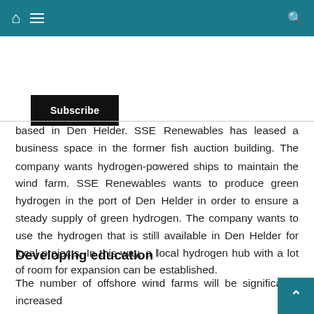Navigation bar with home, menu, and search icons
Subscribe
based in Den Helder. SSE Renewables has leased a business space in the former fish auction building. The company wants hydrogen-powered ships to maintain the wind farm. SSE Renewables wants to produce green hydrogen in the port of Den Helder in order to ensure a steady supply of green hydrogen. The company wants to use the hydrogen that is still available in Den Helder for local projects. In this way, a local hydrogen hub with a lot of room for expansion can be established.
Developing education
The number of offshore wind farms will be significantly increased in the coming decades, thanks to the Dutch government's increased ambitions. Recruiting suitable personnel to keep up with